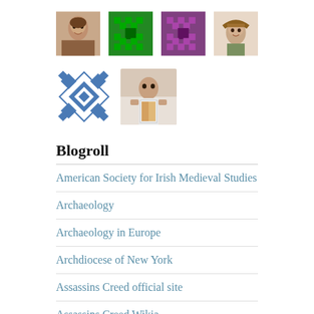[Figure (photo): Row of avatar images: portrait painting of man, green pixel pattern, purple pixel pattern, woman in hat photo]
[Figure (photo): Row of avatar images: blue diamond pattern, photo of man holding book]
Blogroll
American Society for Irish Medieval Studies
Archaeology
Archaeology in Europe
Archdiocese of New York
Assassins Creed official site
Assassins Creed Wikia